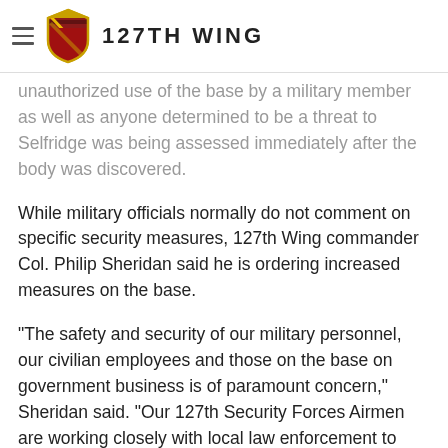127TH WING
unauthorized use of the base by a military member as well as anyone determined to be a threat to Selfridge was being assessed immediately after the body was discovered.
While military officials normally do not comment on specific security measures, 127th Wing commander Col. Philip Sheridan said he is ordering increased measures on the base.
"The safety and security of our military personnel, our civilian employees and those on the base on government business is of paramount concern," Sheridan said. "Our 127th Security Forces Airmen are working closely with local law enforcement to determine the identity of this individual."
The deceased man did not have identification on his person and has not yet been identified. Personnel from